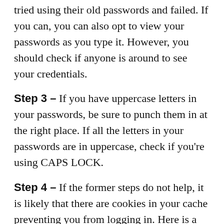tried using their old passwords and failed. If you can, you can also opt to view your passwords as you type it. However, you should check if anyone is around to see your credentials.
Step 3 – If you have uppercase letters in your passwords, be sure to punch them in at the right place. If all the letters in your passwords are in uppercase, check if you're using CAPS LOCK.
Step 4 – If the former steps do not help, it is likely that there are cookies in your cache preventing you from logging in. Here is a guide on how to clear your cache on your browser.
Step 5 – The website might be on the list of restricted sites in your region. You can check it with your Virtual Private Network (VPN) and consider switching your server